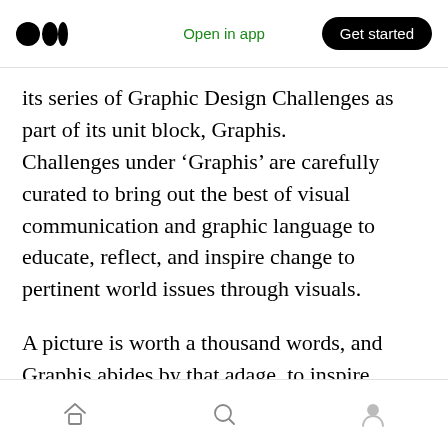Open in app | Get started
its series of Graphic Design Challenges as part of its unit block, Graphis.
Challenges under ‘Graphis’ are carefully curated to bring out the best of visual communication and graphic language to educate, reflect, and inspire change to pertinent world issues through visuals.
A picture is worth a thousand words, and Graphis abides by that adage, to inspire participants to try and portray complex ideas and emotions through a still image.
Home | Search | Profile